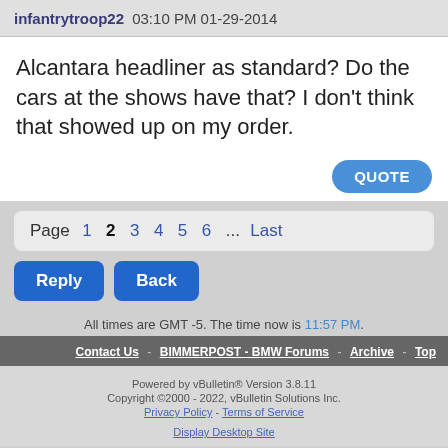infantrytroop22 03:10 PM 01-29-2014
Alcantara headliner as standard? Do the cars at the shows have that? I don't think that showed up on my order.
QUOTE
Page 1 2 3 4 5 6 ... Last
Reply Back
All times are GMT -5. The time now is 11:57 PM.
Contact Us - BIMMERPOST - BMW Forums - Archive - Top
Powered by vBulletin® Version 3.8.11
Copyright ©2000 - 2022, vBulletin Solutions Inc.
Privacy Policy - Terms of Service
Display Desktop Site